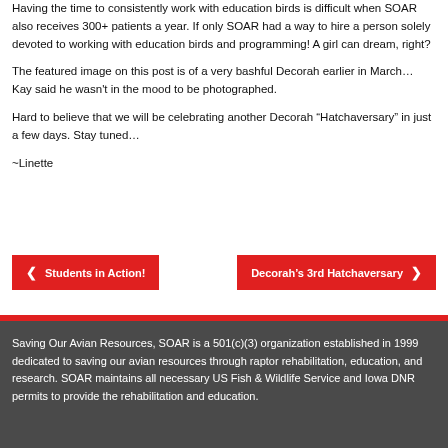Having the time to consistently work with education birds is difficult when SOAR also receives 300+ patients a year. If only SOAR had a way to hire a person solely devoted to working with education birds and programming! A girl can dream, right?
The featured image on this post is of a very bashful Decorah earlier in March… Kay said he wasn't in the mood to be photographed.
Hard to believe that we will be celebrating another Decorah “Hatchaversary” in just a few days. Stay tuned…
~Linette
❮  Students in Action!
Decorah’s 3rd Hatchaversary  ❯
Saving Our Avian Resources, SOAR is a 501(c)(3) organization established in 1999 dedicated to saving our avian resources through raptor rehabilitation, education, and research. SOAR maintains all necessary US Fish & Wildlife Service and Iowa DNR permits to provide the rehabilitation and education.